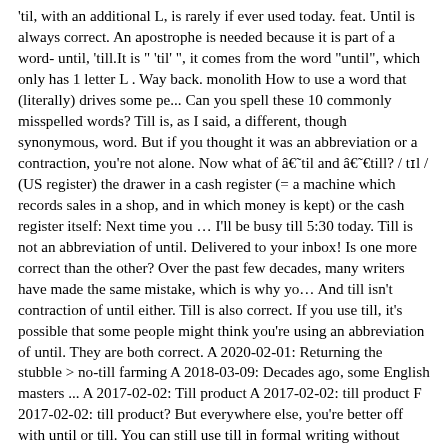'til, with an additional L, is rarely if ever used today. feat. Until is always correct. An apostrophe is needed because it is part of a word- until, 'till.It is " 'til' ", it comes from the word "until", which only has 1 letter L . Way back. monolith How to use a word that (literally) drives some pe... Can you spell these 10 commonly misspelled words? Till is, as I said, a different, though synonymous, word. But if you thought it was an abbreviation or a contraction, you're not alone. Now what of 'til and ''till? / tɪl / (US register) the drawer in a cash register (= a machine which records sales in a shop, and in which money is kept) or the cash register itself: Next time you … I'll be busy till 5:30 today. Till is not an abbreviation of until. Delivered to your inbox! Is one more correct than the other? Over the past few decades, many writers have made the same mistake, which is why yo… And till isn't contraction of until either. Till is also correct. If you use till, it's possible that some people might think you're using an abbreviation of until. They are both correct. A 2020-02-01: Returning the stubble > no-till farming A 2018-03-09: Decades ago, some English masters ... A 2017-02-02: Till product A 2017-02-02: till product F 2017-02-02: till product? But everywhere else, you're better off with until or till. You can still use till in formal writing without being wrong. Study Up With Our Official SCRABBLE Dictionary. Biden projected 46th President. Till is already the shorter version of until (its actually the etymon preceding until). When should or shouldn't you use these three words? Is one more formal than the other? And if you're wondering about 'til, keep